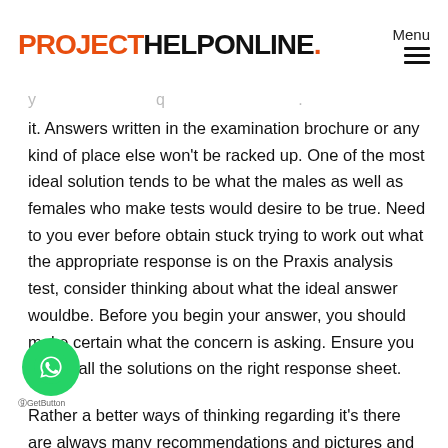PROJECTHELPONLINE. Menu
it. Answers written in the examination brochure or any kind of place else won't be racked up. One of the most ideal solution tends to be what the males as well as females who make tests would desire to be true. Need to you ever before obtain stuck trying to work out what the appropriate response is on the Praxis analysis test, consider thinking about what the ideal answer wouldbe. Before you begin your answer, you should make certain what the concern is asking. Ensure you create all the solutions on the right response sheet.
Rather a better ways of thinking regarding it's there are always many recommendations and pictures and ideas. The majority of the p covered on the math part of the PRAXIS examination are operations that the typical adult would certainly currently be accustomed with.